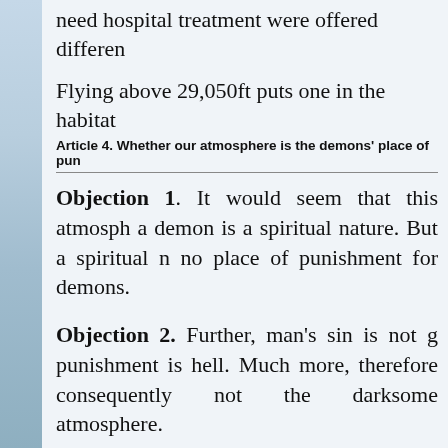need hospital treatment were offered differen
Flying above 29,050ft puts one in the habitat
Article 4. Whether our atmosphere is the demons' place of pun
Objection 1. It would seem that this atmosph a demon is a spiritual nature. But a spiritual n no place of punishment for demons.
Objection 2. Further, man's sin is not g punishment is hell. Much more, therefore consequently not the darksome atmosphere.
Objection 3. Further, the demons are punish darksome atmosphere. Therefore the darkse for the demons.